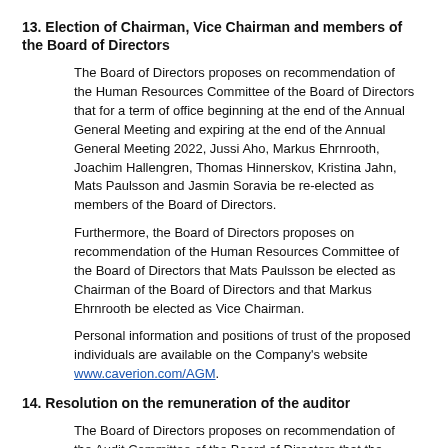13. Election of Chairman, Vice Chairman and members of the Board of Directors
The Board of Directors proposes on recommendation of the Human Resources Committee of the Board of Directors that for a term of office beginning at the end of the Annual General Meeting and expiring at the end of the Annual General Meeting 2022, Jussi Aho, Markus Ehrnrooth, Joachim Hallengren, Thomas Hinnerskov, Kristina Jahn, Mats Paulsson and Jasmin Soravia be re-elected as members of the Board of Directors.
Furthermore, the Board of Directors proposes on recommendation of the Human Resources Committee of the Board of Directors that Mats Paulsson be elected as Chairman of the Board of Directors and that Markus Ehrnrooth be elected as Vice Chairman.
Personal information and positions of trust of the proposed individuals are available on the Company's website www.caverion.com/AGM.
14. Resolution on the remuneration of the auditor
The Board of Directors proposes on recommendation of the Audit Committee of the Board of Directors that the remuneration for the auditor be paid according to invoice approved by the Company.